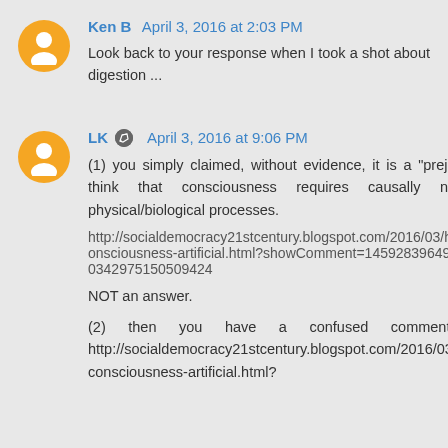Ken B  April 3, 2016 at 2:03 PM
Look back to your response when I took a shot about digestion ...
LK  April 3, 2016 at 9:06 PM
(1) you simply claimed, without evidence, it is a "prejudice" to think that consciousness requires causally necessary physical/biological processes.
http://socialdemocracy21stcentury.blogspot.com/2016/03/human-consciousness-artificial.html?showComment=1459283964910#c8990342975150509424
NOT an answer.
(2) then you have a confused comment here: http://socialdemocracy21stcentury.blogspot.com/2016/03/human-consciousness-artificial.html?